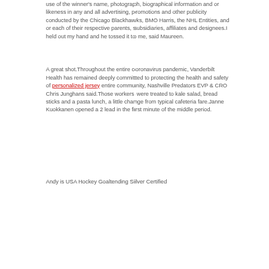use of the winner's name, photograph, biographical information and or likeness in any and all advertising, promotions and other publicity conducted by the Chicago Blackhawks, BMO Harris, the NHL Entities, and or each of their respective parents, subsidiaries, affiliates and designees.I held out my hand and he tossed it to me, said Maureen.
A great shot.Throughout the entire coronavirus pandemic, Vanderbilt Health has remained deeply committed to protecting the health and safety of personalized jersey entire community, Nashville Predators EVP & CRO Chris Junghans said.Those workers were treated to kale salad, bread sticks and a pasta lunch, a little change from typical cafeteria fare.Janne Kuokkanen opened a 2 lead in the first minute of the middle period.
Andy is USA Hockey Goaltending Silver Certified